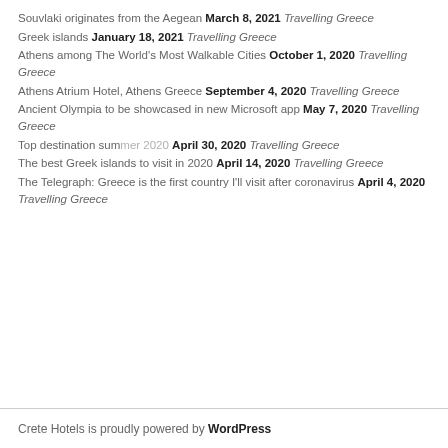Souvlaki originates from the Aegean March 8, 2021 Travelling Greece
Greek islands January 18, 2021 Travelling Greece
Athens among The World's Most Walkable Cities October 1, 2020 Travelling Greece
Athens Atrium Hotel, Athens Greece September 4, 2020 Travelling Greece
Ancient Olympia to be showcased in new Microsoft app May 7, 2020 Travelling Greece
Top destination summer 2020 April 30, 2020 Travelling Greece
The best Greek islands to visit in 2020 April 14, 2020 Travelling Greece
The Telegraph: Greece is the first country I'll visit after coronavirus April 4, 2020 Travelling Greece
Crete Hotels is proudly powered by WordPress